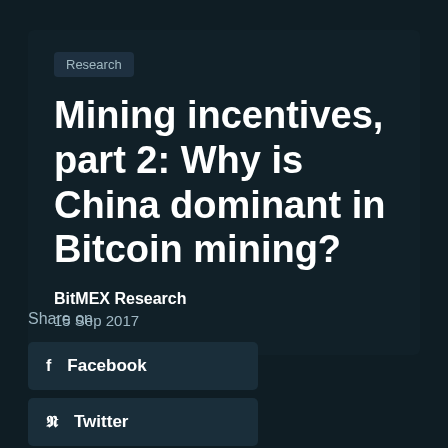Research
Mining incentives, part 2: Why is China dominant in Bitcoin mining?
BitMEX Research
15 Sep 2017
Share on
f  Facebook
Twitter